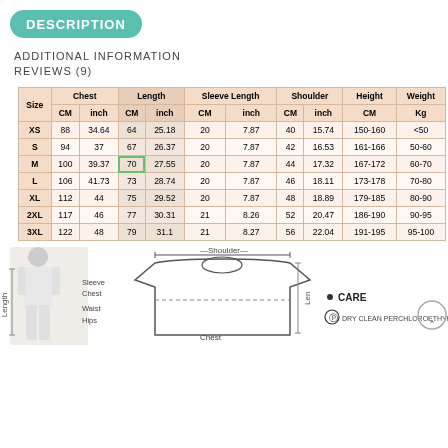DESCRIPTION
ADDITIONAL INFORMATION
REVIEWS (9)
| Size | Chest CM | Chest inch | Length CM | Length inch | Sleeve Length CM | Sleeve Length inch | Shoulder CM | Shoulder inch | Height CM | Weight Kg |
| --- | --- | --- | --- | --- | --- | --- | --- | --- | --- | --- |
| XS | 88 | 34.64 | 64 | 25.18 | 20 | 7.87 | 40 | 15.74 | 150-160 | <50 |
| S | 94 | 37 | 67 | 26.37 | 20 | 7.87 | 42 | 16.53 | 161-166 | 50-60 |
| M | 100 | 39.37 | 70 | 27.55 | 20 | 7.87 | 44 | 17.32 | 167-172 | 60-70 |
| L | 106 | 41.73 | 73 | 28.74 | 20 | 7.87 | 46 | 18.11 | 173-178 | 70-80 |
| XL | 112 | 44 | 75 | 29.52 | 20 | 7.87 | 48 | 18.89 | 179-185 | 80-90 |
| 2XL | 117 | 46 | 77 | 30.31 | 21 | 8.26 | 52 | 20.47 | 186-190 | 90-95 |
| 3XL | 122 | 48 | 79 | 31.1 | 21 | 8.27 | 56 | 22.04 | 191-195 | 95-100 |
[Figure (illustration): Man wearing t-shirt with measurement labels: Length, Sleeve, Chest, Waist, Hips, and a t-shirt diagram showing Shoulder and Chest measurements. Care label: DRY CLEAN PERCHLOROETHYLENE symbol.]